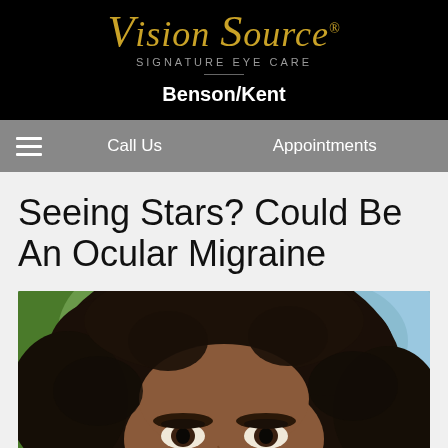[Figure (logo): Vision Source Signature Eye Care logo in gold italic script on black background]
Benson/Kent
≡   Call Us   Appointments
Seeing Stars? Could Be An Ocular Migraine
[Figure (photo): Close-up photo of a woman with curly natural dark hair, partial face visible showing forehead and eyes, outdoors with blurred green and blue background]